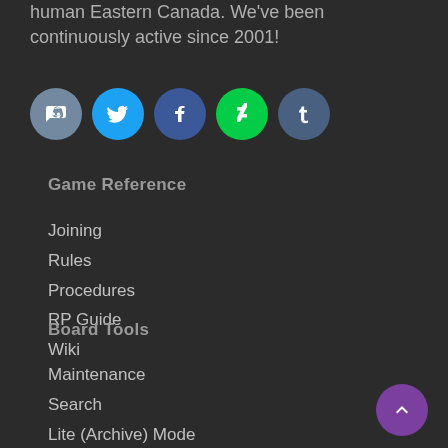human Eastern Canada. We've been continuously active since 2001!
[Figure (infographic): Row of five social media icon circles: Discord (purple-blue), Twitter (blue bird), Facebook (dark blue f), DeviantArt (green), Tumblr (dark blue)]
Game Reference
Joining
Rules
Procedures
RP Guide
Wiki
Board Tools
Maintenance
Search
Lite (Archive) Mode
RSS Syndication